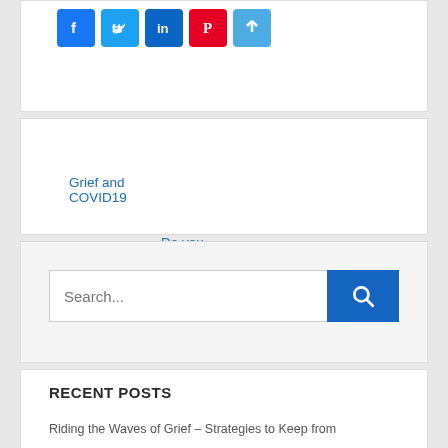[Figure (other): Social media share buttons: Facebook (blue), Twitter (light blue), LinkedIn (dark blue), Pinterest (red), Share (blue plus icon)]
Grief and COVID19
Do you know how to get your prayers answered?
[Figure (other): Search input field with placeholder text 'Search...' and a blue search button with magnifying glass icon]
RECENT POSTS
Riding the Waves of Grief – Strategies to Keep from